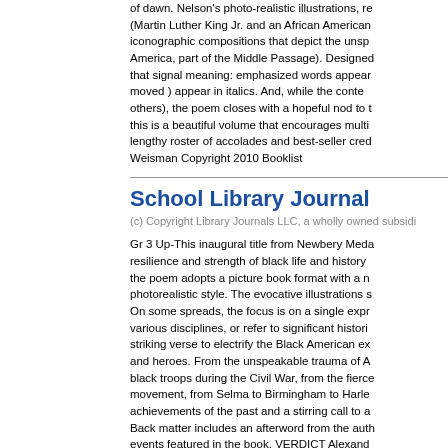of dawn. Nelson's photo-realistic illustrations, re (Martin Luther King Jr. and an African American iconographic compositions that depict the unsp America, part of the Middle Passage). Designed that signal meaning: emphasized words appear moved ) appear in italics. And, while the conte others), the poem closes with a hopeful nod to this is a beautiful volume that encourages multi lengthy roster of accolades and best-seller cre Weisman Copyright 2010 Booklist
School Library Journal
(c) Copyright Library Journals LLC, a wholly owned subsidi
Gr 3 Up-This inaugural title from Newbery Meda resilience and strength of black life and history the poem adopts a picture book format with a n photorealistic style. The evocative illustrations s On some spreads, the focus is on a single expr various disciplines, or refer to significant histori striking verse to electrify the Black American ex and heroes. From the unspeakable trauma of A black troops during the Civil War, from the fierce movement, from Selma to Birmingham to Harle achievements of the past and a stirring call to a Back matter includes an afterword from the auth events featured in the book. VERDICT Alexand This book is an essential first purchase for all li PA © Copyright 2019. Library Journals LLC, a w